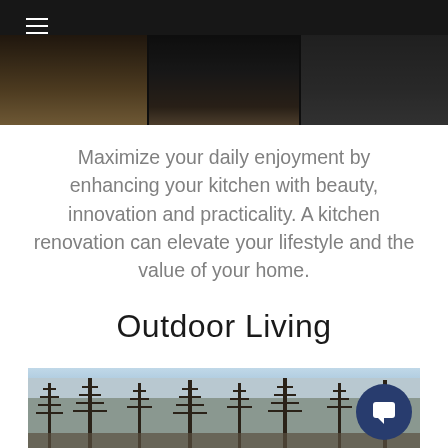[Figure (photo): Dark kitchen interior photo with three panels showing cabinetry and hardwood floors, with a hamburger menu icon in the top left]
Maximize your daily enjoyment by enhancing your kitchen with beauty, innovation and practicality. A kitchen renovation can elevate your lifestyle and the value of your home.
Outdoor Living
[Figure (photo): Outdoor winter scene with bare trees against a light sky, with a dark blue chat button overlay in bottom right]